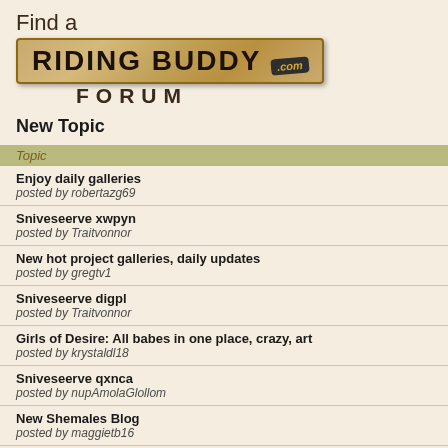Find a Riding Buddy Forum .com
New Topic
| Topic |
| --- |
| Enjoy daily galleries
posted by robertazg69 |
| Sniveseerve xwpyn
posted by Traitvonnor |
| New hot project galleries, daily updates
posted by gregtv1 |
| Sniveseerve digpl
posted by Traitvonnor |
| Girls of Desire: All babes in one place, crazy, art
posted by krystaldl18 |
| Sniveseerve qxnca
posted by nupAmolaGlollom |
| New Shemales Blog
posted by maggietb16 |
| Sniveseerve tcfph
posted by Maypeteawstycle |